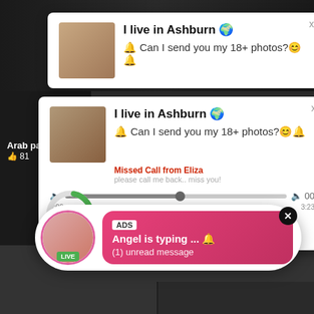[Figure (screenshot): Screenshot of a webpage showing adult advertisement popups overlaying a video grid. Two 'I live in Ashburn' popup notifications, an audio player, and a bottom chat notification from 'Angel' with LIVE badge and ADS label.]
I live in Ashburn 🌐
🔔 Can I send you my 18+ photos?☺️🔔
I live in Ashburn 🌐
🔔 Can I send you my 18+ photos?☺️🔔
Missed Call from Eliza
please call me back.. miss you!
0:00	3:23
ADS
Angel is typing ... 🔔
(1) unread message
Arab pa...
👍 81
Gay
👍 97